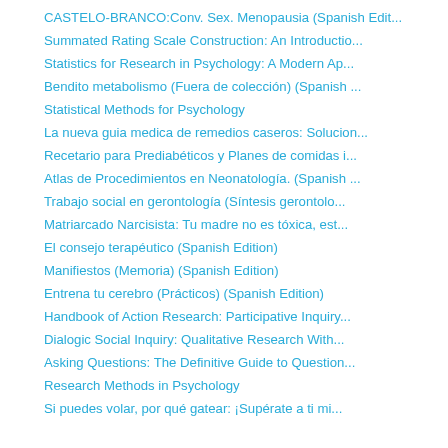CASTELO-BRANCO:Conv. Sex. Menopausia (Spanish Edit...
Summated Rating Scale Construction: An Introductio...
Statistics for Research in Psychology: A Modern Ap...
Bendito metabolismo (Fuera de colección) (Spanish ...
Statistical Methods for Psychology
La nueva guia medica de remedios caseros: Solucion...
Recetario para Prediabéticos y Planes de comidas i...
Atlas de Procedimientos en Neonatología. (Spanish ...
Trabajo social en gerontología (Síntesis gerontolo...
Matriarcado Narcisista: Tu madre no es tóxica, est...
El consejo terapéutico (Spanish Edition)
Manifiestos (Memoria) (Spanish Edition)
Entrena tu cerebro (Prácticos) (Spanish Edition)
Handbook of Action Research: Participative Inquiry...
Dialogic Social Inquiry: Qualitative Research With...
Asking Questions: The Definitive Guide to Question...
Research Methods in Psychology
Si puedes volar, por qué gatear: ¡Supérate a ti mi...